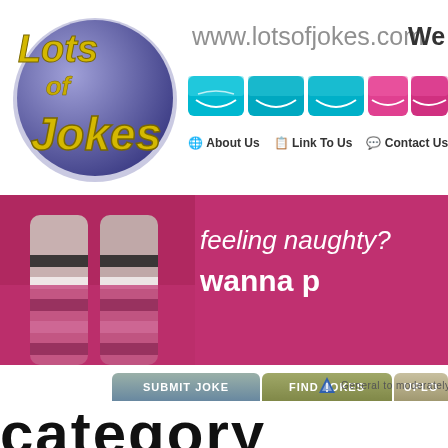[Figure (logo): Lots of Jokes circular logo with purple/blue gradient background and gold italic text]
www.lotsofjokes.com
We
[Figure (screenshot): Navigation buttons with mouth/smile images in teal and pink colors]
About Us   Link To Us   Contact Us   Bo
[Figure (photo): Banner with pink/magenta background showing legs in striped stockings, text: feeling naughty? wanna p]
feeling naughty?
wanna p
SUBMIT JOKE
FIND JOKES
UPLO
[Figure (logo): Small triangle/mountain icon with text General to moderately strong]
General to moderately strong
category